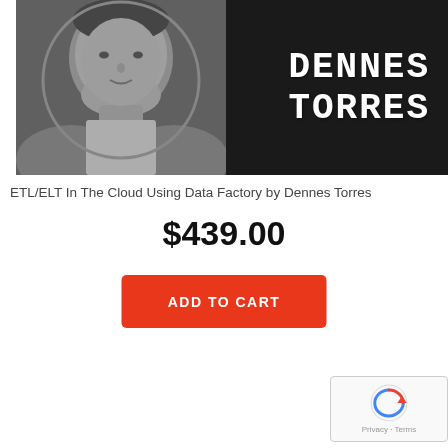[Figure (photo): Banner image with black and white photo of Dennes Torres on left, dark background on right with text 'DENNES TORRES' in white bold serif/typewriter font]
ETL/ELT In The Cloud Using Data Factory by Dennes Torres
$439.00
ADD TO CART
[Figure (logo): reCAPTCHA badge with Google reCAPTCHA icon and Privacy · Terms text]